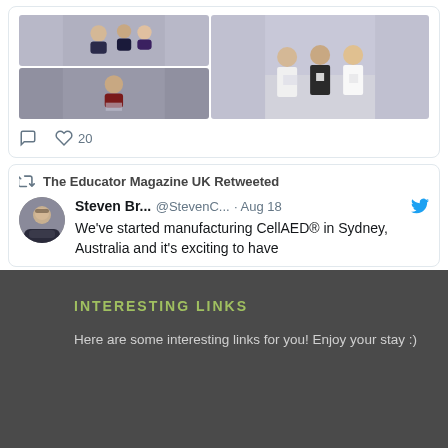[Figure (photo): Photo grid with student images — top-left shows students, bottom-left shows a male student with paper, right side shows three female students outdoors holding papers]
♡ 20
The Educator Magazine UK Retweeted
[Figure (photo): Profile photo of Steven Br... - a man in a suit with glasses]
Steven Br... @StevenC... · Aug 18
We've started manufacturing CellAED® in Sydney, Australia and it's exciting to have
INTERESTING LINKS
Here are some interesting links for you! Enjoy your stay :)